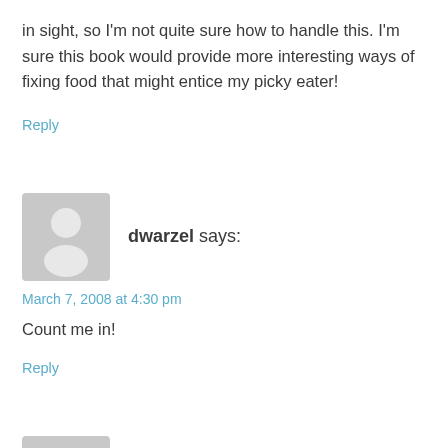in sight, so I'm not quite sure how to handle this. I'm sure this book would provide more interesting ways of fixing food that might entice my picky eater!
Reply
dwarzel says:
March 7, 2008 at 4:30 pm
Count me in!
Reply
[Figure (illustration): Generic user avatar icon (gray silhouette of person on light gray rounded square background) for commenter Sheri]
Sheri says: